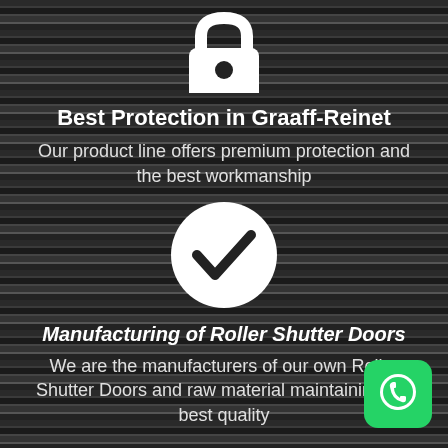[Figure (illustration): White padlock icon on dark striped background]
Best Protection in Graaff-Reinet
Our product line offers premium protection and the best workmanship
[Figure (illustration): White circle with black checkmark icon]
Manufacturing of Roller Shutter Doors
We are the manufacturers of our own Roller Shutter Doors and raw material maintaining the best quality
[Figure (logo): WhatsApp green logo button in bottom right corner]